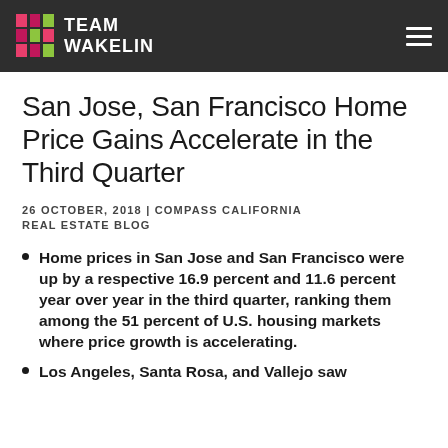TEAM WAKELIN
San Jose, San Francisco Home Price Gains Accelerate in the Third Quarter
26 OCTOBER, 2018 | COMPASS CALIFORNIA REAL ESTATE BLOG
Home prices in San Jose and San Francisco were up by a respective 16.9 percent and 11.6 percent year over year in the third quarter, ranking them among the 51 percent of U.S. housing markets where price growth is accelerating.
Los Angeles, Santa Rosa, and Vallejo saw